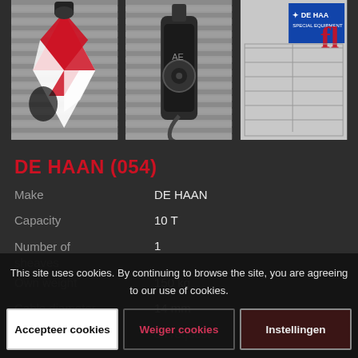[Figure (photo): Three product photos of a DE HAAN crane hook/pulley block. Left: red and white striped hook block. Center: crane hook viewed from below. Right: DE HAAN Special Equipment label plate.]
DE HAAN (054)
| Property | Value |
| --- | --- |
| Make | DE HAAN |
| Capacity | 10 T |
| Number of sheaves | 1 |
| Own weight | 150 kg |
| Cable diameter | 14 mm |
| Price | on request |
This site uses cookies. By continuing to browse the site, you are agreeing to our use of cookies.
Accepteer cookies
Weiger cookies
Instellingen